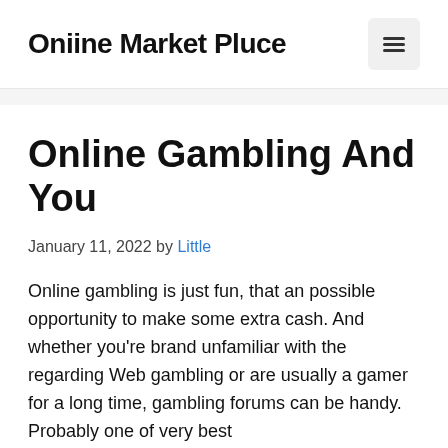Oniine Market Pluce
Online Gambling And You
January 11, 2022 by Little
Online gambling is just fun, that an possible opportunity to make some extra cash. And whether you’re brand unfamiliar with the regarding Web gambling or are usually a gamer for a long time, gambling forums can be handy. Probably one of very best